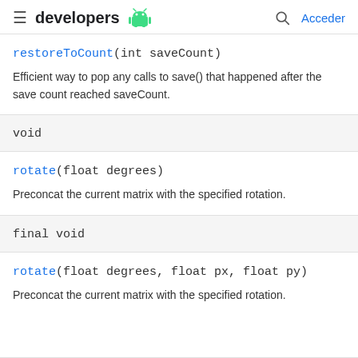developers [Android] Acceder
restoreToCount(int saveCount)
Efficient way to pop any calls to save() that happened after the save count reached saveCount.
void
rotate(float degrees)
Preconcat the current matrix with the specified rotation.
final void
rotate(float degrees, float px, float py)
Preconcat the current matrix with the specified rotation.